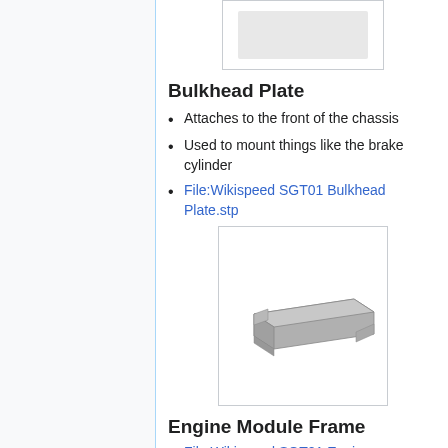[Figure (photo): Partial image of a component at the top of the page, cropped]
Bulkhead Plate
Attaches to the front of the chassis
Used to mount things like the brake cylinder
File:Wikispeed SGT01 Bulkhead Plate.stp
[Figure (illustration): 3D rendering of a grey rectangular bulkhead plate with notched corners]
Engine Module Frame
File:Wikispeed SGT01 Engine